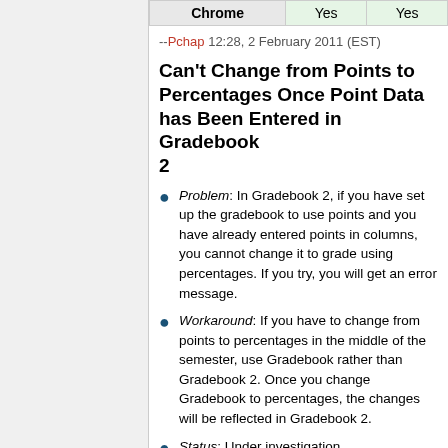| Chrome | Yes | Yes |
| --- | --- | --- |
--Pchap 12:28, 2 February 2011 (EST)
Can't Change from Points to Percentages Once Point Data has Been Entered in Gradebook 2
Problem: In Gradebook 2, if you have set up the gradebook to use points and you have already entered points in columns, you cannot change it to grade using percentages. If you try, you will get an error message.
Workaround: If you have to change from points to percentages in the middle of the semester, use Gradebook rather than Gradebook 2. Once you change Gradebook to percentages, the changes will be reflected in Gradebook 2.
Status: Under investigation.
Learning Module (pilot)